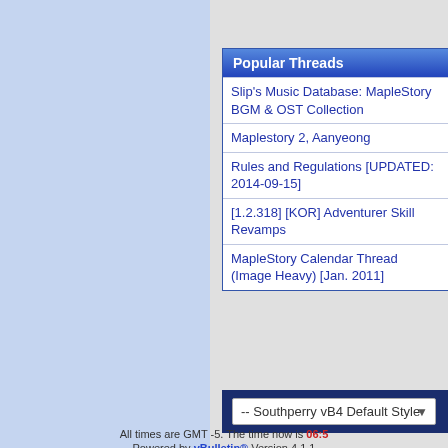Popular Threads
Slip's Music Database: MapleStory BGM & OST Collection
Maplestory 2, Aanyeong
Rules and Regulations [UPDATED: 2014-09-15]
[1.2.318] [KOR] Adventurer Skill Revamps
MapleStory Calendar Thread (Image Heavy) [Jan. 2011]
-- Southperry vB4 Default Style
All times are GMT -5. The time now is 06:5
Powered by vBulletin® Version 4.1.1